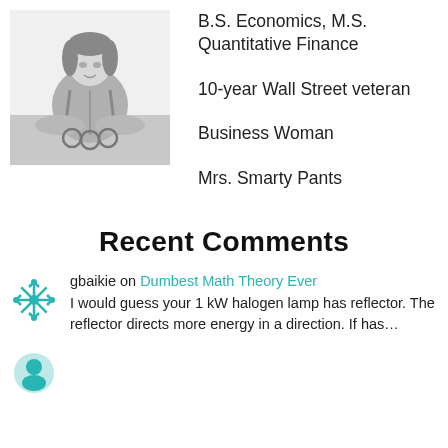[Figure (photo): Black and white photo of a woman sitting at a table]
B.S. Economics, M.S. Quantitative Finance
10-year Wall Street veteran
Business Woman
Mrs. Smarty Pants
Recent Comments
[Figure (illustration): Teal snowflake avatar icon for user gbaikie]
gbaikie on Dumbest Math Theory Ever
I would guess your 1 kW halogen lamp has reflector. The reflector directs more energy in a direction. If has...
[Figure (illustration): Teal avatar icon for a second commenter]